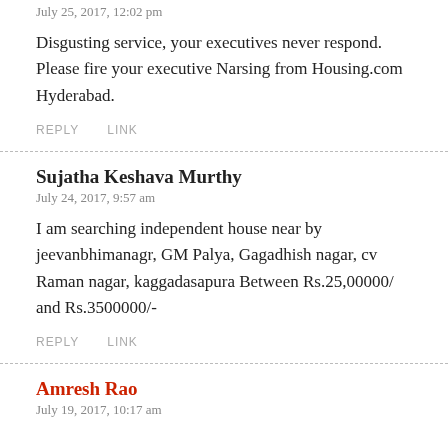July 25, 2017, 12:02 pm
Disgusting service, your executives never respond. Please fire your executive Narsing from Housing.com Hyderabad.
REPLY   LINK
Sujatha Keshava Murthy
July 24, 2017, 9:57 am
I am searching independent house near by jeevanbhimanagr, GM Palya, Gagadhish nagar, cv Raman nagar, kaggadasapura Between Rs.25,00000/ and Rs.3500000/-
REPLY   LINK
Amresh Rao
July 19, 2017, 10:17 am